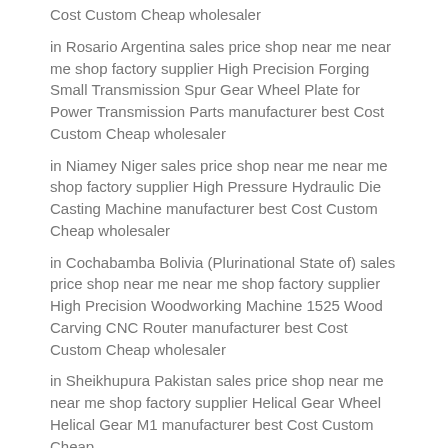Cost Custom Cheap wholesaler
in Rosario Argentina sales price shop near me near me shop factory supplier High Precision Forging Small Transmission Spur Gear Wheel Plate for Power Transmission Parts manufacturer best Cost Custom Cheap wholesaler
in Niamey Niger sales price shop near me near me shop factory supplier High Pressure Hydraulic Die Casting Machine manufacturer best Cost Custom Cheap wholesaler
in Cochabamba Bolivia (Plurinational State of) sales price shop near me near me shop factory supplier High Precision Woodworking Machine 1525 Wood Carving CNC Router manufacturer best Cost Custom Cheap wholesaler
in Sheikhupura Pakistan sales price shop near me near me shop factory supplier Helical Gear Wheel Helical Gear M1 manufacturer best Cost Custom Cheap